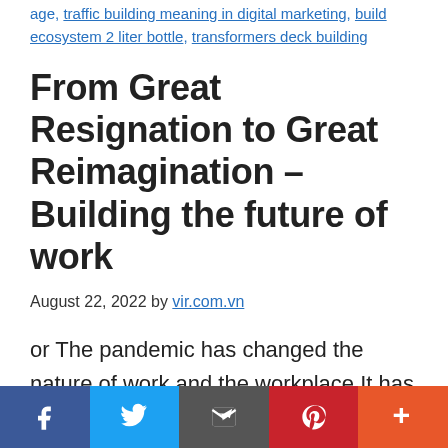age, traffic building meaning in digital marketing, build ecosystem 2 liter bottle, transformers deck building
From Great Resignation to Great Reimagination – Building the future of work
August 22, 2022 by vir.com.vn
or The pandemic has changed the nature of work and the workplace It has been nearly three years since the pandemic started, and while the fear of viruses might have eased, other challenges have been growing. During the social distancing period,
Facebook, Twitter, Email, Pinterest, More